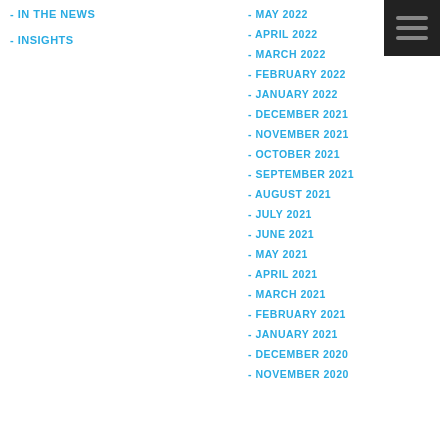- IN THE NEWS
- INSIGHTS
- MAY 2022
- APRIL 2022
- MARCH 2022
- FEBRUARY 2022
- JANUARY 2022
- DECEMBER 2021
- NOVEMBER 2021
- OCTOBER 2021
- SEPTEMBER 2021
- AUGUST 2021
- JULY 2021
- JUNE 2021
- MAY 2021
- APRIL 2021
- MARCH 2021
- FEBRUARY 2021
- JANUARY 2021
- DECEMBER 2020
- NOVEMBER 2020
[Figure (other): Hamburger menu icon — dark square with three horizontal grey lines]